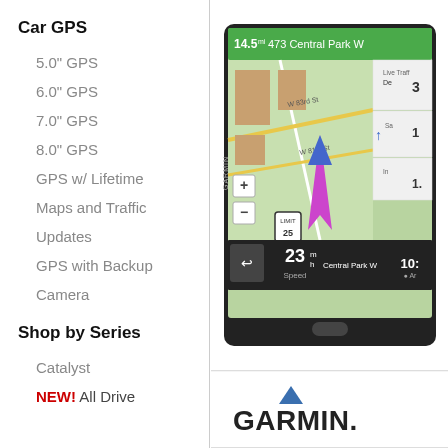Car GPS
5.0" GPS
6.0" GPS
7.0" GPS
8.0" GPS
GPS w/ Lifetime
Maps and Traffic
Updates
GPS with Backup
Camera
Shop by Series
Catalyst
NEW! All Drive
[Figure (screenshot): Garmin GPS device screen showing navigation to 473 Central Park W, 14.5 miles away, with map view of Central Park area, speed 23 mph, and various navigation info panels]
[Figure (logo): Garmin logo with blue triangle above the word GARMIN with a period]